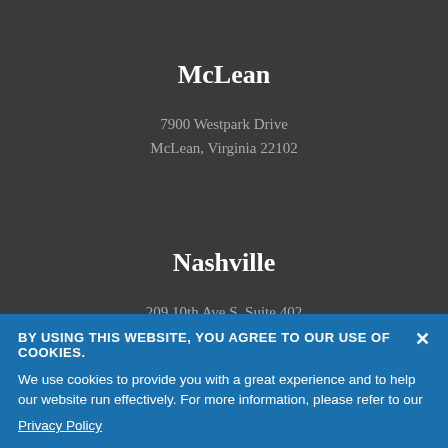McLean
7900 Westpark Drive
McLean, Virginia 22102
Nashville
209 10th Ave S, Suite 402
Nashville, Tennessee 37203
Office Information
Richmond
2810 West Broad Street, Suite 100
BY USING THIS WEBSITE, YOU AGREE TO OUR USE OF COOKIES.
We use cookies to provide you with a great experience and to help our website run effectively. For more information, please refer to our
Privacy Policy